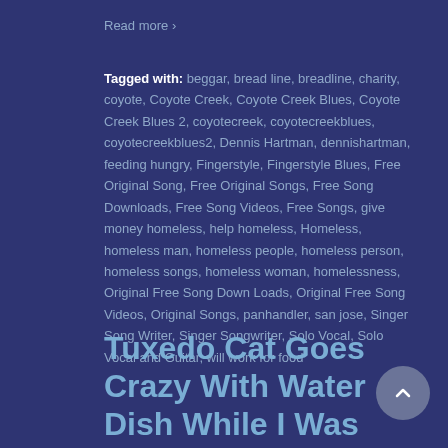Read more ›
Tagged with: beggar, bread line, breadline, charity, coyote, Coyote Creek, Coyote Creek Blues, Coyote Creek Blues 2, coyotecreek, coyotecreekblues, coyotecreekblues2, Dennis Hartman, dennishartman, feeding hungry, Fingerstyle, Fingerstyle Blues, Free Original Song, Free Original Songs, Free Song Downloads, Free Song Videos, Free Songs, give money homeless, help homeless, Homeless, homeless man, homeless people, homeless person, homeless songs, homeless woman, homelessness, Original Free Song Down Loads, Original Free Song Videos, Original Songs, panhandler, san jose, Singer Song Writer, Singer Songwriter, Solo Vocal, Solo Vocal and Guitar, will work for food
Tuxedo Cat Goes Crazy With Water Dish While I Was Making My Music Video